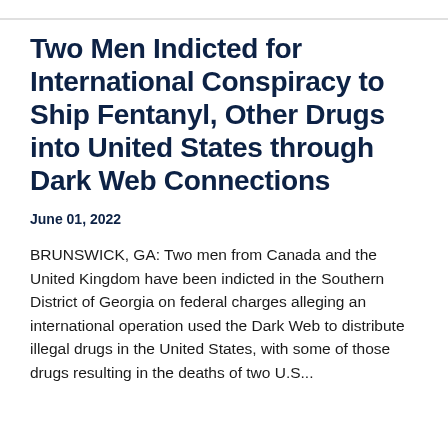Two Men Indicted for International Conspiracy to Ship Fentanyl, Other Drugs into United States through Dark Web Connections
June 01, 2022
BRUNSWICK, GA: Two men from Canada and the United Kingdom have been indicted in the Southern District of Georgia on federal charges alleging an international operation used the Dark Web to distribute illegal drugs in the United States, with some of those drugs resulting in the deaths of two U.S...